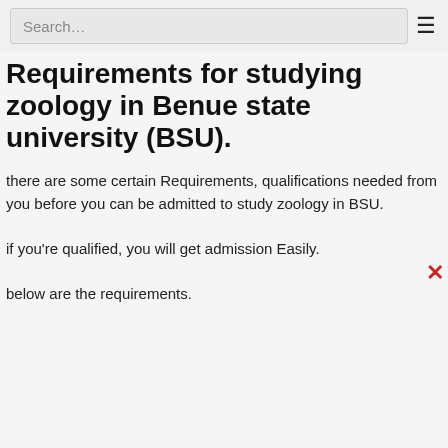look at the requirements for studying zoology in BSU.
Requirements for studying zoology in Benue state university (BSU).
there are some certain Requirements, qualifications needed from you before you can be admitted to study zoology in BSU.
if you’re qualified, you will get admission Easily.
below are the requirements.